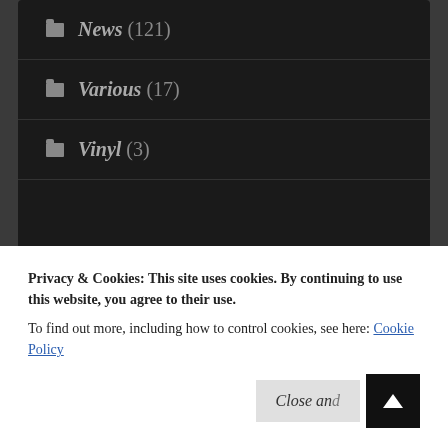News (121)
Various (17)
Vinyl (3)
Blogroll
Rock Company
Privacy & Cookies: This site uses cookies. By continuing to use this website, you agree to their use. To find out more, including how to control cookies, see here: Cookie Policy